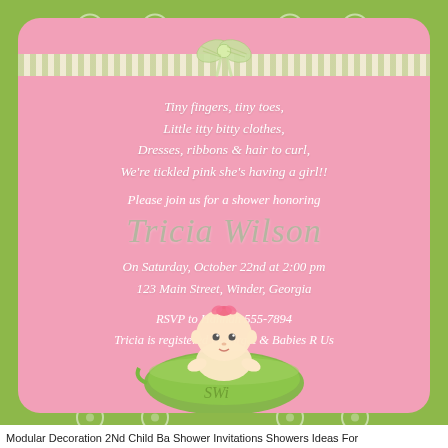[Figure (illustration): Baby shower invitation card with green polka-dot border, pink card center, green striped ribbon bow at top, poem text, honoree name 'Tricia Wilson', event details, RSVP info, and a baby in a pea pod illustration at the bottom.]
Modular Decoration 2Nd Child Ba Shower Invitations Showers Ideas For